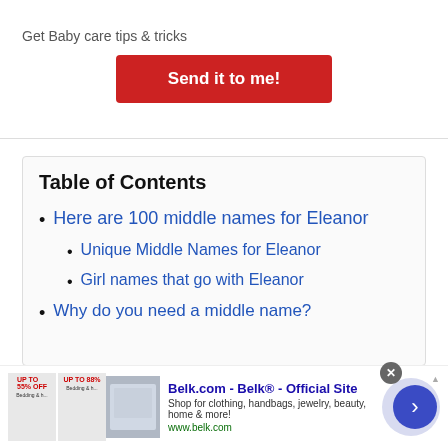Get Baby care tips & tricks
Send it to me!
Table of Contents
Here are 100 middle names for Eleanor
Unique Middle Names for Eleanor
Girl names that go with Eleanor
Why do you need a middle name?
Belk.com - Belk® - Official Site
Shop for clothing, handbags, jewelry, beauty, home & more!
www.belk.com